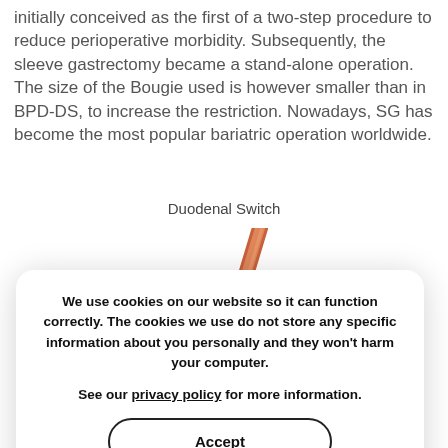initially conceived as the first of a two-step procedure to reduce perioperative morbidity. Subsequently, the sleeve gastrectomy became a stand-alone operation. The size of the Bougie used is however smaller than in BPD-DS, to increase the restriction. Nowadays, SG has become the most popular bariatric operation worldwide.
Duodenal Switch
[Figure (illustration): Medical illustration showing the Duodenal Switch bariatric procedure, with a tube/bougie visible against anatomical structures of the stomach area.]
We use cookies on our website so it can function correctly. The cookies we use do not store any specific information about you personally and they won't harm your computer.

See our privacy policy for more information.
Accept